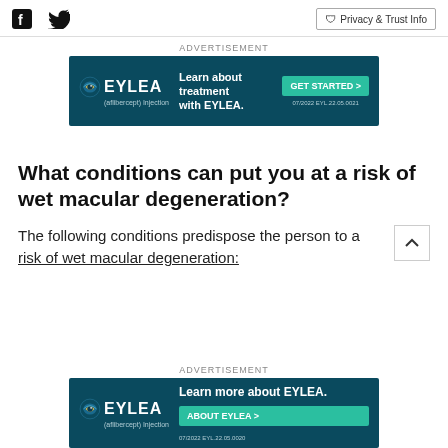Social icons (Facebook, Twitter) and Privacy & Trust Info button
[Figure (illustration): EYLEA (aflibercept) Injection advertisement banner with teal background. Text: 'Learn about treatment with EYLEA.' with 'GET STARTED >' button. Code: 07/2022 EYL.22.05.0021]
What conditions can put you at a risk of wet macular degeneration?
The following conditions predispose the person to a risk of wet macular degeneration:
[Figure (illustration): EYLEA (aflibercept) Injection advertisement banner with teal background. Text: 'Learn more about EYLEA.' with 'ABOUT EYLEA >' button. Code: 07/2022 EYL.22.05.0020]